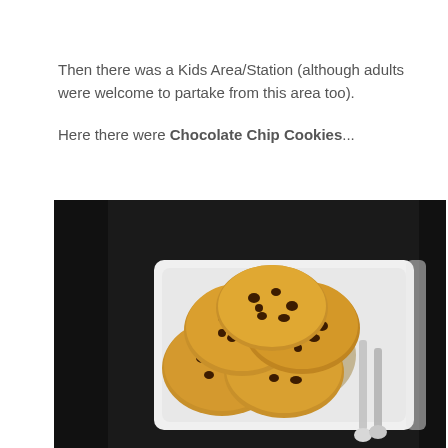Then there was a Kids Area/Station (although adults were welcome to partake from this area too).

Here there were Chocolate Chip Cookies...
[Figure (photo): A white rectangular plate with five large chocolate chip cookies arranged in a pile, with silver serving tongs on the right side. The plate sits on a dark (black) surface.]